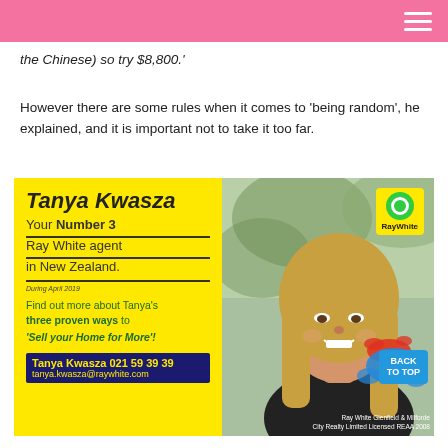the Chinese) so try $8,800.'
However there are some rules when it comes to 'being random', he explained, and it is important not to take it too far.
[Figure (photo): Advertisement for Tanya Kwasza, Ray White real estate agent. Yellow background on left side with agent name, title 'Your Number 3 Ray White agent in New Zealand.', contact details phone 021 59 39 39 and email tanya.kwasza@raywhite.com. Right side shows a professional photo of a woman with long blonde hair smiling, with Ray White logo badge.]